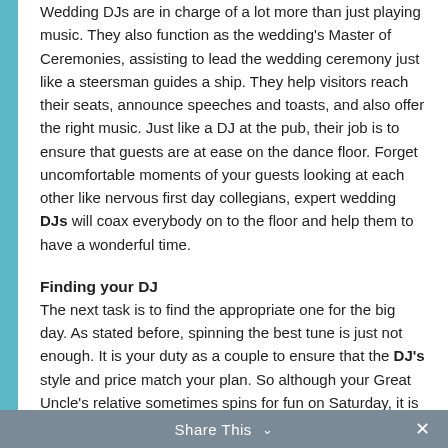Wedding DJs are in charge of a lot more than just playing music. They also function as the wedding's Master of Ceremonies, assisting to lead the wedding ceremony just like a steersman guides a ship. They help visitors reach their seats, announce speeches and toasts, and also offer the right music. Just like a DJ at the pub, their job is to ensure that guests are at ease on the dance floor. Forget uncomfortable moments of your guests looking at each other like nervous first day collegians, expert wedding DJs will coax everybody on to the floor and help them to have a wonderful time.
Finding your DJ
The next task is to find the appropriate one for the big day. As stated before, spinning the best tune is just not enough. It is your duty as a couple to ensure that the DJ's style and price match your plan. So although your Great Uncle's relative sometimes spins for fun on Saturday, it is to your advantage to hire an expert. An excellent place to find the best DJ is your town's bridal expo, where you could assess services and costs.
Share This ∨  ✕